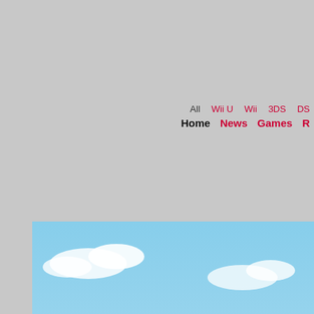All  Wii U  Wii  3DS  DS
Home  News  Games  R...
[Figure (screenshot): Donkey Kong Country game screenshot showing DK character with 'DONKEY KONG COUNTRY RETRO SCOPE' title text overlay, jungle background]
Retro Scope: Donkey Kong Country
Welcome back to the jungle!